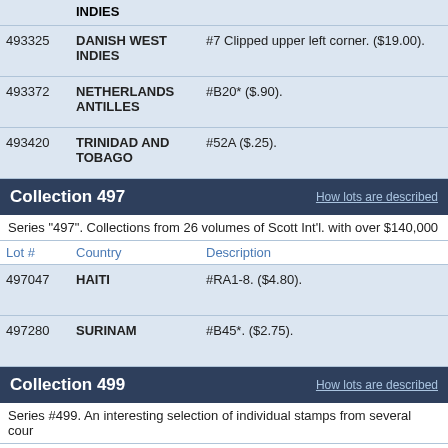| Lot # | Country | Description |
| --- | --- | --- |
|  | INDIES |  |
| 493325 | DANISH WEST INDIES | #7 Clipped upper left corner. ($19.00). |
| 493372 | NETHERLANDS ANTILLES | #B20* ($.90). |
| 493420 | TRINIDAD AND TOBAGO | #52A ($.25). |
Collection 497
Series "497". Collections from 26 volumes of Scott Int'l. with over $140,000
| Lot # | Country | Description |
| --- | --- | --- |
| 497047 | HAITI | #RA1-8. ($4.80). |
| 497280 | SURINAM | #B45*. ($2.75). |
Collection 499
Series #499. An interesting selection of individual stamps from several cour
| Lot # | Country | Description |
| --- | --- | --- |
| 499004 | GRENADA | #11. ($20.00). |